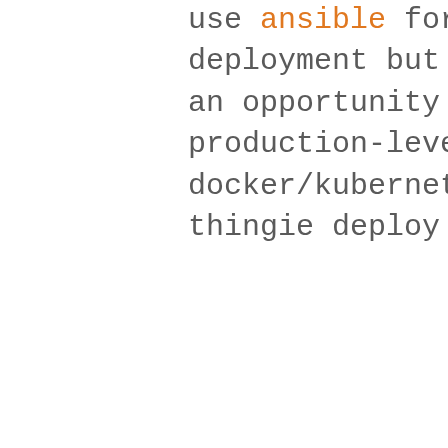use ansible for provisioning and deployment but have been waiting for an opportunity to work on a production-level docker/kubernetes/whatever container thingie deploy for a little while.
Maybe doing this as a list was a mistake, I've used an extensive amount of technologies in production: the major SQL databases and the